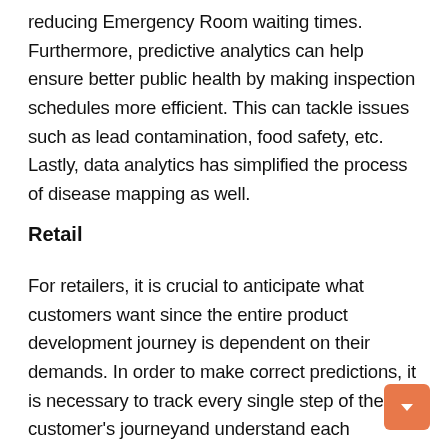reducing Emergency Room waiting times. Furthermore, predictive analytics can help ensure better public health by making inspection schedules more efficient. This can tackle issues such as lead contamination, food safety, etc. Lastly, data analytics has simplified the process of disease mapping as well.
Retail
For retailers, it is crucial to anticipate what customers want since the entire product development journey is dependent on their demands. In order to make correct predictions, it is necessary to track every single step of the customer's journeyand understand each